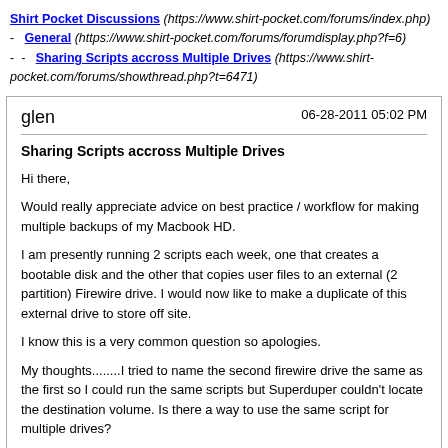Shirt Pocket Discussions (https://www.shirt-pocket.com/forums/index.php) - General (https://www.shirt-pocket.com/forums/forumdisplay.php?f=6) - - Sharing Scripts accross Multiple Drives (https://www.shirt-pocket.com/forums/showthread.php?t=6471)
glen   06-28-2011 05:02 PM
Sharing Scripts accross Multiple Drives
Hi there,

Would really appreciate advice on best practice / workflow for making multiple backups of my Macbook HD.

I am presently running 2 scripts each week, one that creates a bootable disk and the other that copies user files to an external (2 partition) Firewire drive. I would now like to make a duplicate of this external drive to store off site.

I know this is a very common question so apologies.

My thoughts........I tried to name the second firewire drive the same as the first so I could run the same scripts but Superduper couldn't locate the destination volume. Is there a way to use the same script for multiple drives?

I also wondered about trying to understand how to get SUPERDUPER